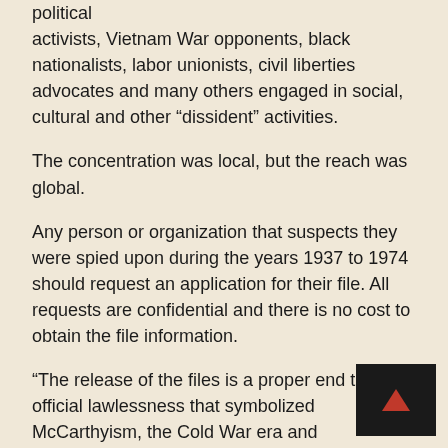political activists, Vietnam War opponents, black nationalists, labor unionists, civil liberties advocates and many others engaged in social, cultural and other “dissident” activities.
The concentration was local, but the reach was global.
Any person or organization that suspects they were spied upon during the years 1937 to 1974 should request an application for their file. All requests are confidential and there is no cost to obtain the file information.
“The release of the files is a proper end to the official lawlessness that symbolized McCarthyism, the Cold War era and government’s unwarranted fears of peaceful assembly to protest and dissent. Such unconstitutional secret police surveillances threaten the core of our freedom.” —Professor Edward J. Littlejohn, Wayne State University Law School. Trustee, Detroit Red Squad Program